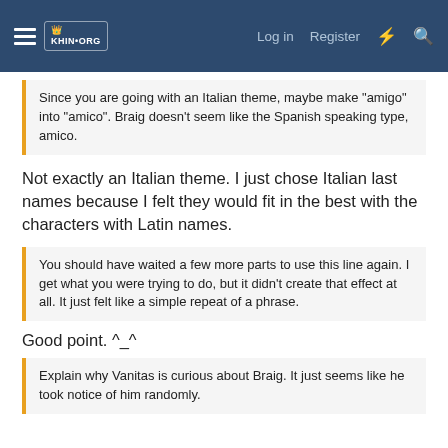Log in  Register
Since you are going with an Italian theme, maybe make "amigo" into "amico". Braig doesn't seem like the Spanish speaking type, amico.
Not exactly an Italian theme. I just chose Italian last names because I felt they would fit in the best with the characters with Latin names.
You should have waited a few more parts to use this line again. I get what you were trying to do, but it didn't create that effect at all. It just felt like a simple repeat of a phrase.
Good point. ^_^
Explain why Vanitas is curious about Braig. It just seems like he took notice of him randomly.